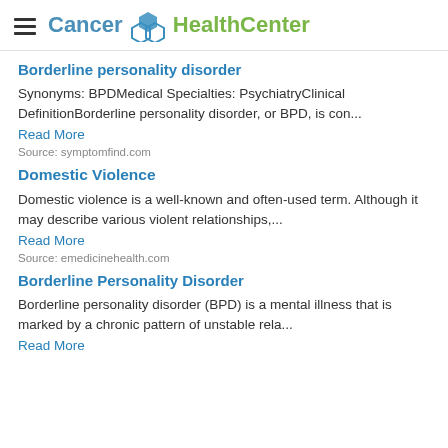Cancer HealthCenter
Borderline personality disorder
Synonyms: BPDMedical Specialties: PsychiatryClinical DefinitionBorderline personality disorder, or BPD, is con...
Read More
Source: symptomfind.com
Domestic Violence
Domestic violence is a well-known and often-used term. Although it may describe various violent relationships,...
Read More
Source: emedicinehealth.com
Borderline Personality Disorder
Borderline personality disorder (BPD) is a mental illness that is marked by a chronic pattern of unstable rela...
Read More